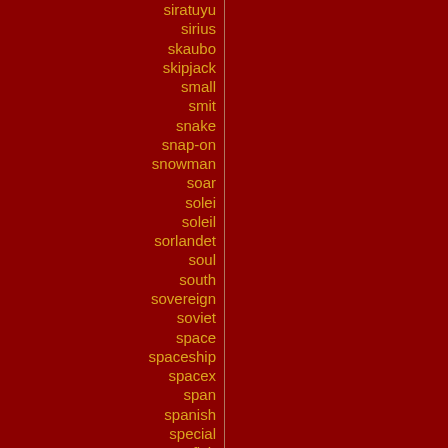siratuyu
sirius
skaubo
skipjack
small
smit
snake
snap-on
snowman
soar
solei
soleil
sorlandet
soul
south
sovereign
soviet
space
spaceship
spacex
span
spanish
special
sportfish
spray